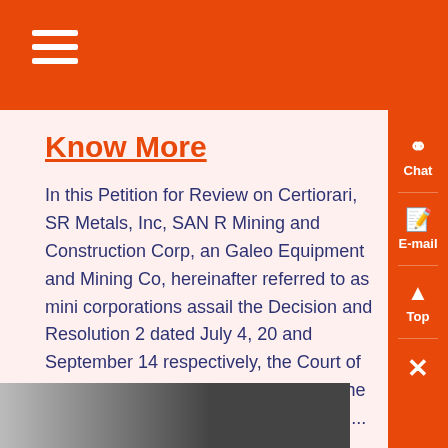Know More
In this Petition for Review on Certiorari, SR Metals, Inc, SAN R Mining and Construction Corp, and Galeo Equipment and Mining Co, hereinafter referred to as mini corporations assail the Decision and Resolution 2 dated July 4, 20 and September 14 respectively, the Court of Appeals CA , in CA-G SP No 97127 The mining corporations fault the CA for a ,...